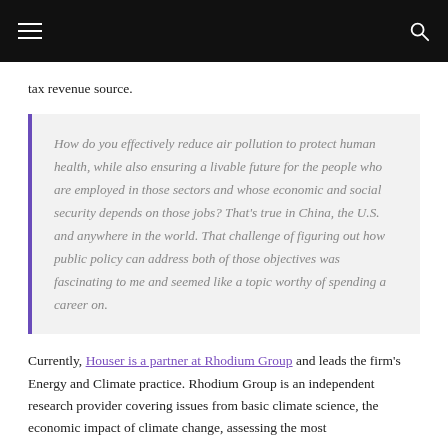tax revenue source.
How do you effectively reduce air pollution to protect human health, while also ensuring a livable future for the people who are employed in those sectors and whose economic and social security depends on those jobs? That's true in China, the U.S. and anywhere in the world. That challenge of figuring out how public policy can address both of those objectives was fascinating to me and seemed like a topic worthy of spending a career on.
Currently, Houser is a partner at Rhodium Group and leads the firm's Energy and Climate practice. Rhodium Group is an independent research provider covering issues from basic climate science, the economic impact of climate change, assessing the most